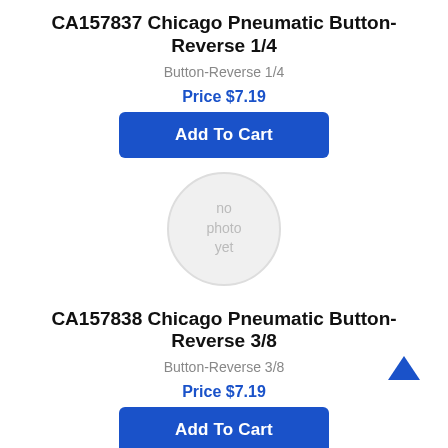CA157837 Chicago Pneumatic Button-Reverse 1/4
Button-Reverse 1/4
Price $7.19
Add To Cart
[Figure (illustration): Circular placeholder image with text 'no photo yet' in light gray]
CA157838 Chicago Pneumatic Button-Reverse 3/8
Button-Reverse 3/8
Price $7.19
Add To Cart